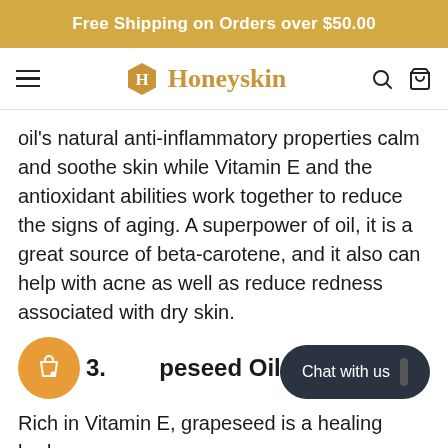Free Shipping on Orders over $50.00
[Figure (logo): Honeyskin logo with hexagon H icon and brand name in gold, with hamburger menu, search icon, and cart icon]
oil’s natural anti-inflammatory properties calm and soothe skin while Vitamin E and the antioxidant abilities work together to reduce the signs of aging. A superpower of oil, it is a great source of beta-carotene, and it also can help with acne as well as reduce redness associated with dry skin.
3. Grapeseed Oil
Rich in Vitamin E, grapeseed is a healing body